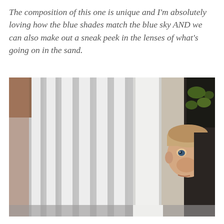The composition of this one is unique and I'm absolutely loving how the blue shades match the blue sky AND we can also make out a sneak peek in the lenses of what's going on in the sand.
[Figure (photo): A child peeking around a white column or doorframe from the right side, partially hidden. The left side of the image shows vertical white spindles or railings, blurred, with a brown wooden element at upper left. The background on the right is dark with a plant visible at upper right.]